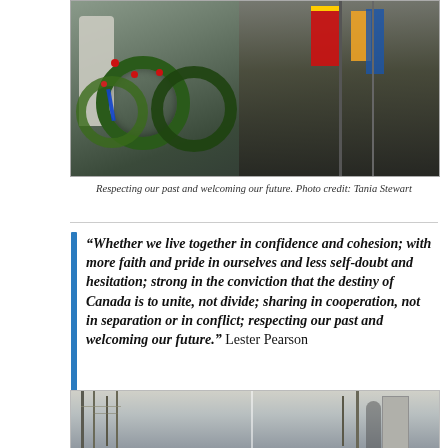[Figure (photo): People at a memorial ceremony with green wreaths decorated with red poppies and ribbons, flags visible on the right side, people in military and formal attire standing near a stone monument]
Respecting our past and welcoming our future. Photo credit: Tania Stewart
“Whether we live together in confidence and cohesion; with more faith and pride in ourselves and less self-doubt and hesitation; strong in the conviction that the destiny of Canada is to unite, not divide; sharing in cooperation, not in separation or in conflict; respecting our past and welcoming our future.” Lester Pearson
[Figure (photo): Two outdoor photos side by side showing bare winter trees and a person near what appears to be a building or monument]